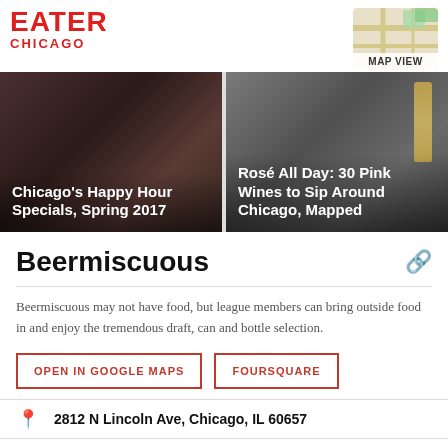EATER CHICAGO
[Figure (map): MAP VIEW thumbnail showing a street map]
[Figure (photo): Chicago's Happy Hour Specials, Spring 2017 — photo card with people]
[Figure (photo): Rosé All Day: 30 Pink Wines to Sip Around Chicago, Mapped — photo card with wine bottles]
Beermiscuous
Beermiscuous may not have food, but league members can bring outside food in and enjoy the tremendous draft, can and bottle selection.
OPEN IN GOOGLE MAPS
FOURSQUARE
2812 N Lincoln Ave, Chicago, IL 60657
(855) 450-2337
Visit Website